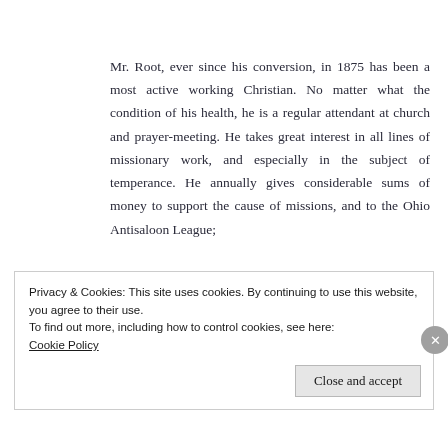Mr. Root, ever since his conversion, in 1875 has been a most active working Christian. No matter what the condition of his health, he is a regular attendant at church and prayer-meeting. He takes great interest in all lines of missionary work, and especially in the subject of temperance. He annually gives considerable sums of money to support the cause of missions, and to the Ohio Antisaloon League;
Privacy & Cookies: This site uses cookies. By continuing to use this website, you agree to their use.
To find out more, including how to control cookies, see here:
Cookie Policy